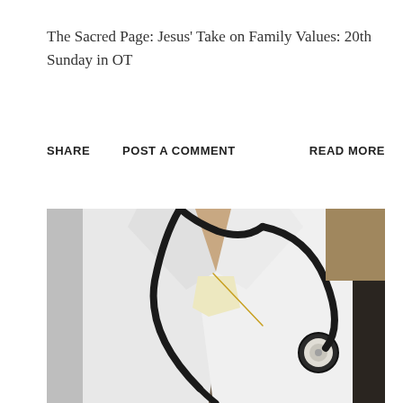The Sacred Page: Jesus' Take on Family Values: 20th Sunday in OT
SHARE    POST A COMMENT    READ MORE
[Figure (photo): Close-up photo of a person wearing a white doctor's lab coat with a stethoscope draped around the neck, the stethoscope head visible on the right side of the chest area, and a gold necklace visible at the collar.]